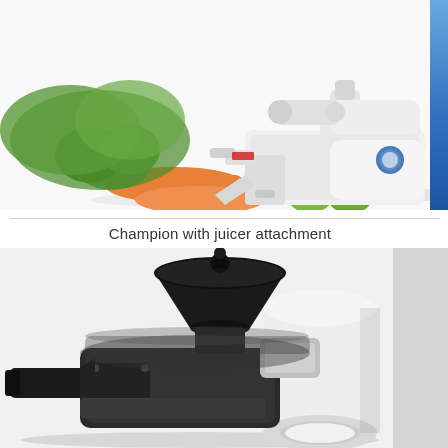[Figure (photo): Champion juicer machine (white) with juicer attachment shown alongside carrots, green apples, and leafy greens. A blue vertical bar appears on the right side.]
Champion with juicer attachment
[Figure (photo): Close-up of a juicer machine with black funnel/hopper on top, dark body components on the left, and a white cylindrical body on the right. A gray panel appears on the far right.]